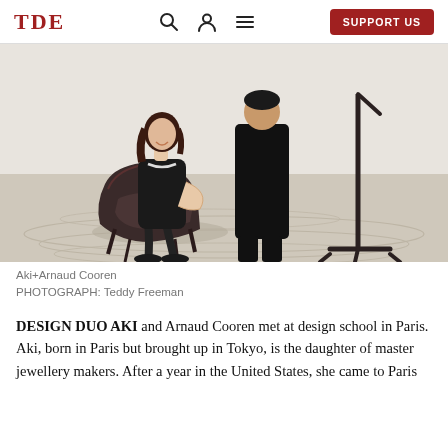TDE | SUPPORT US
[Figure (photo): A woman in a black dress sits smiling in a dark sculptural armchair placed on a sandy/rippled floor in a gallery-like space. A man in black stands behind/beside her. A tall dark sculptural stand is visible to the right.]
Aki+Arnaud Cooren
PHOTOGRAPH: Teddy Freeman
DESIGN DUO AKI and Arnaud Cooren met at design school in Paris. Aki, born in Paris but brought up in Tokyo, is the daughter of master jewellery makers. After a year in the United States, she came to Paris